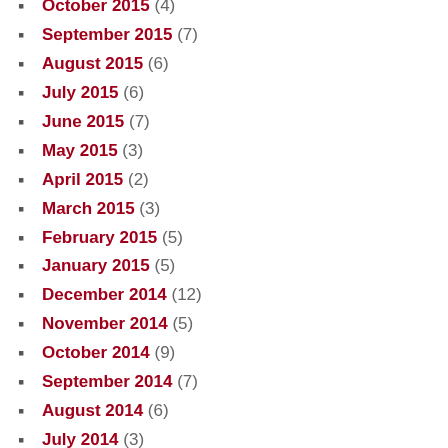October 2015 (4)
September 2015 (7)
August 2015 (6)
July 2015 (6)
June 2015 (7)
May 2015 (3)
April 2015 (2)
March 2015 (3)
February 2015 (5)
January 2015 (5)
December 2014 (12)
November 2014 (5)
October 2014 (9)
September 2014 (7)
August 2014 (6)
July 2014 (3)
June 2014 (5)
May 2014 (6)
April 2014 (9)
March 2014 (9)
February 2014 (7)
January 2014 (8)